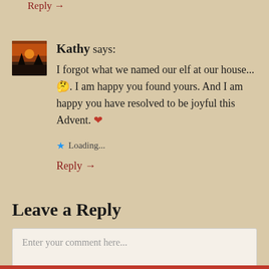Reply →
Kathy says:
I forgot what we named our elf at our house...🤔. I am happy you found yours. And I am happy you have resolved to be joyful this Advent. ❤
★ Loading...
Reply →
Leave a Reply
Enter your comment here...